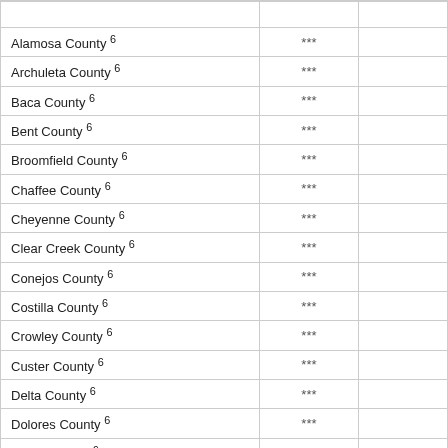| County |  |  |
| --- | --- | --- |
| Alamosa County 6 | *** |  |
| Archuleta County 6 | *** |  |
| Baca County 6 | *** |  |
| Bent County 6 | *** |  |
| Broomfield County 6 | *** |  |
| Chaffee County 6 | *** |  |
| Cheyenne County 6 | *** |  |
| Clear Creek County 6 | *** |  |
| Conejos County 6 | *** |  |
| Costilla County 6 | *** |  |
| Crowley County 6 | *** |  |
| Custer County 6 | *** |  |
| Delta County 6 | *** |  |
| Dolores County 6 | *** |  |
| Eagle County 6 | *** |  |
| Elbert County 6 | *** |  |
| Garfield County 6 | *** |  |